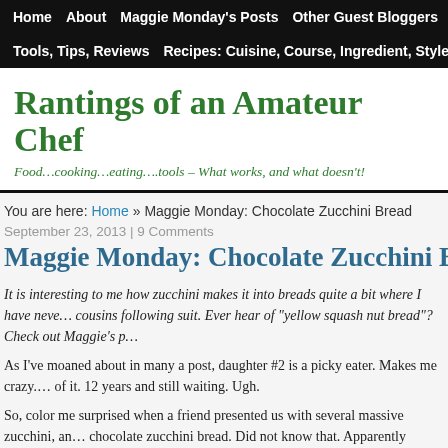Home | About | Maggie Monday's Posts | Other Guest Bloggers | Awar... | Tools, Tips, Reviews | Recipes: Cuisine, Course, Ingredient, Style | Diet
Rantings of an Amateur Chef
Food…cooking…eating….tools – What works, and what doesn't!
You are here: Home » Maggie Monday: Chocolate Zucchini Bread
September 23, 2013 | 9 Comments
Maggie Monday: Chocolate Zucchini Bre…
It is interesting to me how zucchini makes it into breads quite a bit where I have neve… cousins following suit. Ever hear of "yellow squash nut bread"? Check out Maggie's p…
As I've moaned about in many a post, daughter #2 is a picky eater. Makes me crazy. … of it. 12 years and still waiting. Ugh.
So, color me surprised when a friend presented us with several massive zucchini, an… chocolate zucchini bread. Did not know that. Apparently someone made it at her sch… me. So, off to Google land to find a recipe. I stole this one from Simply Recipes. Ea…